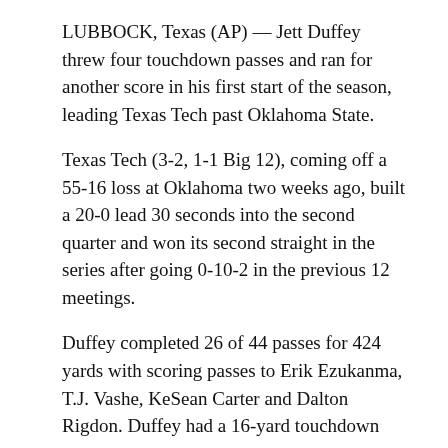LUBBOCK, Texas (AP) — Jett Duffey threw four touchdown passes and ran for another score in his first start of the season, leading Texas Tech past Oklahoma State.
Texas Tech (3-2, 1-1 Big 12), coming off a 55-16 loss at Oklahoma two weeks ago, built a 20-0 lead 30 seconds into the second quarter and won its second straight in the series after going 0-10-2 in the previous 12 meetings.
Duffey completed 26 of 44 passes for 424 yards with scoring passes to Erik Ezukanma, T.J. Vashe, KeSean Carter and Dalton Rigdon. Duffey had a 16-yard touchdown run.
Oklahoma State (4-2, 1-2) committed five turnovers, three interceptions and two fumbles by redshirt freshman quarterback Spencer Sanders. Chuba Hubbard ran for 156 yards and three touchdowns.